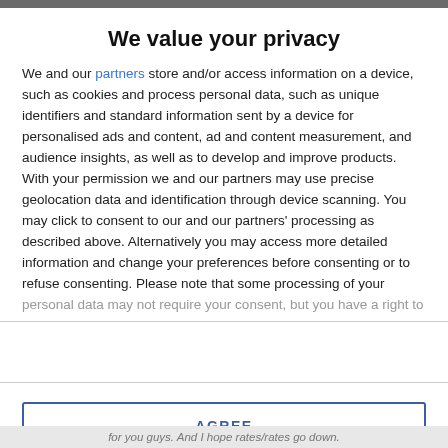We value your privacy
We and our partners store and/or access information on a device, such as cookies and process personal data, such as unique identifiers and standard information sent by a device for personalised ads and content, ad and content measurement, and audience insights, as well as to develop and improve products. With your permission we and our partners may use precise geolocation data and identification through device scanning. You may click to consent to our and our partners' processing as described above. Alternatively you may access more detailed information and change your preferences before consenting or to refuse consenting. Please note that some processing of your personal data may not require your consent, but you have a right to
AGREE
MORE OPTIONS
for you guys. And I hope rates/rates go down.